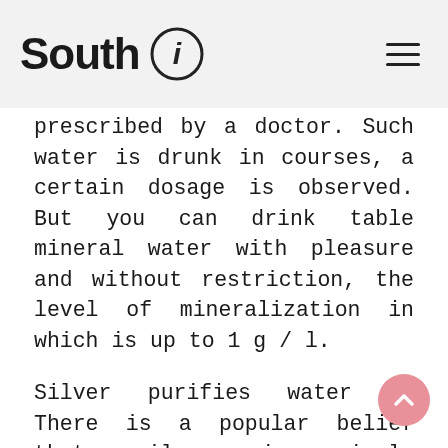South i
prescribed by a doctor. Such water is drunk in courses, a certain dosage is observed. But you can drink table mineral water with pleasure and without restriction, the level of mineralization in which is up to 1 g / l.
Silver purifies water !? There is a popular belief that silver is simply miraculous. It has antiseptic, bactericidal and anti-inflammatory properties. Despite the fact that many of us believe that "silver" water has a very good effect on our well-being, scientists and doctors have not confirmed this fact. Not many people know that silver is used in water production as an active preservative. But getting into the